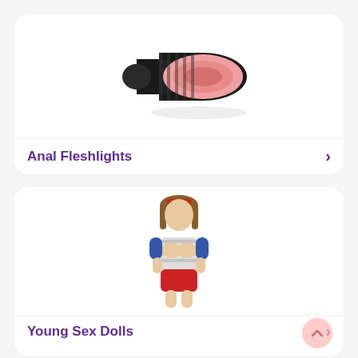[Figure (photo): A black Fleshlight-style masturbator with pink opening, cap removed, product lying on its side on a white background]
Anal Fleshlights
[Figure (photo): A small sex doll figurine with brown hair, red sunglasses on head, striped top, red shorts, sitting pose, on white background]
Young Sex Dolls